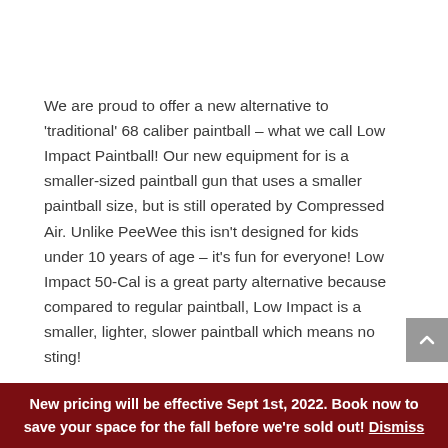We are proud to offer a new alternative to 'traditional' 68 caliber paintball – what we call Low Impact Paintball! Our new equipment for is a smaller-sized paintball gun that uses a smaller paintball size, but is still operated by Compressed Air. Unlike PeeWee this isn't designed for kids under 10 years of age – it's fun for everyone! Low Impact 50-Cal is a great party alternative because compared to regular paintball, Low Impact is a smaller, lighter, slower paintball which means no sting!

What this means for you is the traditional Hide &
New pricing will be effective Sept 1st, 2022. Book now to save your space for the fall before we're sold out! Dismiss